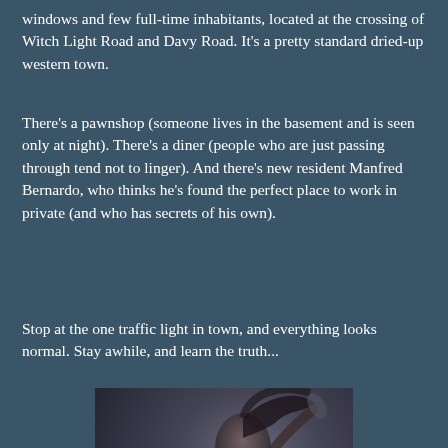windows and few full-time inhabitants, located at the crossing of Witch Light Road and Davy Road. It's a pretty standard dried-up western town.
There's a pawnshop (someone lives in the basement and is seen only at night). There's a diner (people who are just passing through tend not to linger). And there's new resident Manfred Bernardo, who thinks he's found the perfect place to work in private (and who has secrets of his own).
Stop at the one traffic light in town, and everything looks normal. Stay awhile, and learn the truth...
[Figure (illustration): Book cover image showing a dark-haired figure with the word 'Review' written in decorative script at the bottom]